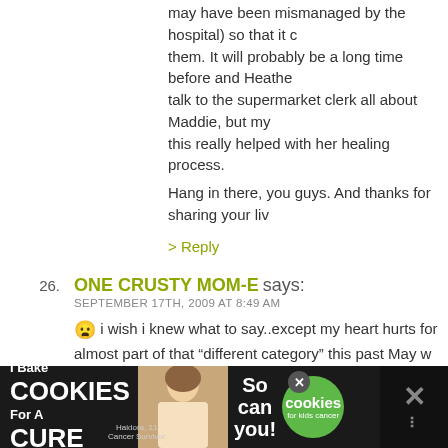may have been mismanaged by the hospital) so that it doesn't happen to them. It will probably be a long time before and Heather can talk to the supermarket clerk all about Maddie, but my this really helped with her healing process.
Hang in there, you guys. And thanks for sharing your liv
> Reply
26. ONE CRUSTY MOM-E says: SEPTEMBER 17TH, 2009 AT 8:49 AM
😞 i wish i knew what to say..except my heart hurts for almost part of that "different category" this past May w old brother, was hit drivers side at 40mph by a semi-
life is cruel and yet balanced with hidden discovered joy May today be a good one for you and your wonderful w
:)
.-= ONE CRUSTY MOM-E´s last blog ..There's A Cougar
> Reply
[Figure (infographic): Advertisement banner: 'I Bake COOKIES For A CURE' with photo of girl, 'So can you!' text, green cookies circle badge, and X close button on dark background]